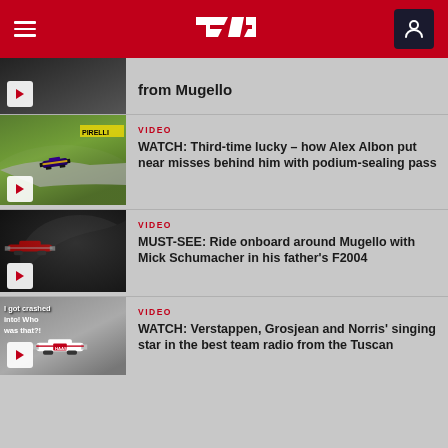F1 navigation bar
[Figure (screenshot): Partial video thumbnail – top of item cut off, dark F1 car image]
from Mugello
VIDEO
[Figure (screenshot): Video thumbnail showing F1 car on racing track]
WATCH: Third-time lucky – how Alex Albon put near misses behind him with podium-sealing pass
VIDEO
[Figure (screenshot): Dark video thumbnail – Mugello circuit]
MUST-SEE: Ride onboard around Mugello with Mick Schumacher in his father's F2004
VIDEO
[Figure (screenshot): Haas F1 car thumbnail with text overlay: 'I got crashed into! Who was that?!']
WATCH: Verstappen, Grosjean and Norris' singing star in the best team radio from the Tuscan